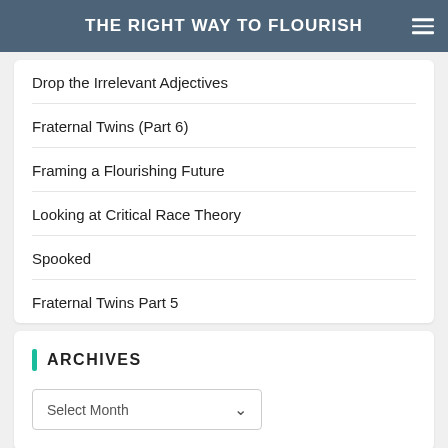THE RIGHT WAY TO FLOURISH
Drop the Irrelevant Adjectives
Fraternal Twins (Part 6)
Framing a Flourishing Future
Looking at Critical Race Theory
Spooked
Fraternal Twins Part 5
ARCHIVES
Select Month